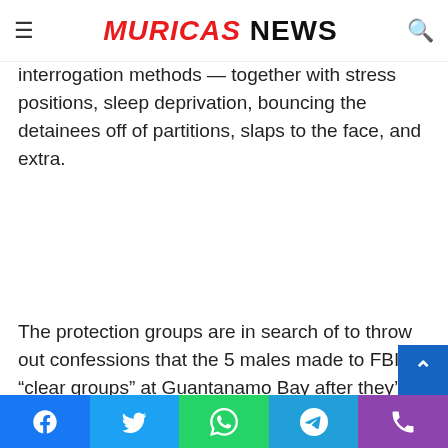MURICAS NEWS
facilitator Ramzi bin Shibh and al-Qaeda cash man Mostafa — subjected to a wide range of interrogation methods — together with stress positions, sleep deprivation, bouncing the detainees off of partitions, slaps to the face, and extra.
The protection groups are in search of to throw out confessions that the 5 males made to FBI “clear groups” at Guantanamo Bay after they’d been subjected to those “enhanced interrogation methods,” thought-about torture by many, on the CIA black websites.
Jay Connell, the demise penalty protection lawyer for KSM’s nephew, spoke with the press on Sunday at a Guantanamo Bay motel.
Facebook Twitter WhatsApp Telegram Phone